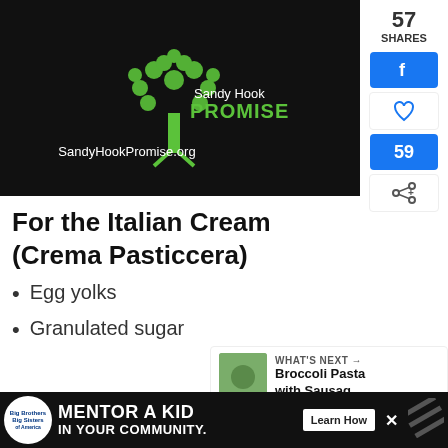[Figure (logo): Sandy Hook Promise logo on black background with green tree made of hands, text 'Sandy Hook PROMISE' and 'SandyHookPromise.org']
For the Italian Cream (Crema Pasticcera)
Egg yolks
Granulated sugar
[Figure (screenshot): Social sharing sidebar showing 57 SHARES, Facebook icon button, heart icon, 59 count, and share icon]
[Figure (screenshot): What's Next panel showing Broccoli Pasta with Sausag... thumbnail and label]
[Figure (screenshot): Bottom advertisement bar: Big Brothers Big Sisters logo, MENTOR A KID IN YOUR COMMUNITY text, Learn How button]